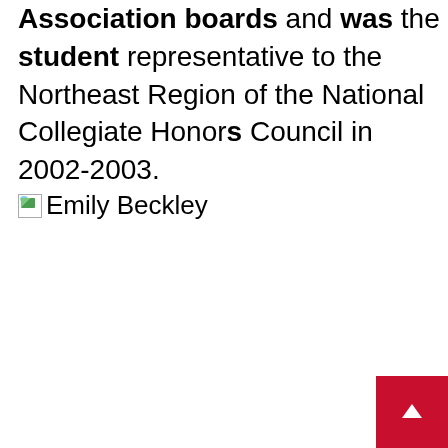Association boards and was the student representative to the Northeast Region of the National Collegiate Honors Council in 2002-2003.
[Figure (photo): Broken image placeholder labeled 'Emily Beckley']